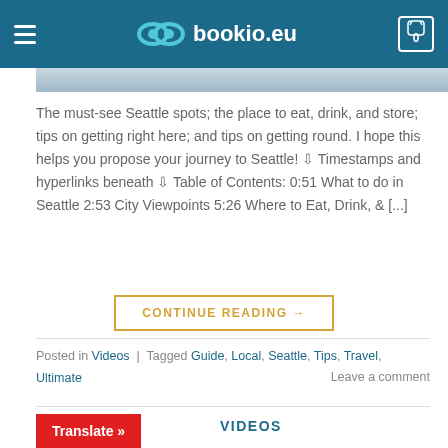bookio.eu
[Figure (photo): Partial photo strip showing a building or outdoor scene with blue sky]
The must-see Seattle spots; the place to eat, drink, and store; tips on getting right here; and tips on getting round. I hope this helps you propose your journey to Seattle! ⇩ Timestamps and hyperlinks beneath ⇩ Table of Contents: 0:51 What to do in Seattle 2:53 City Viewpoints 5:26 Where to Eat, Drink, & [...]
CONTINUE READING →
Posted in Videos | Tagged Guide, Local, Seattle, Tips, Travel, Ultimate
Leave a comment
Translate »
VIDEOS